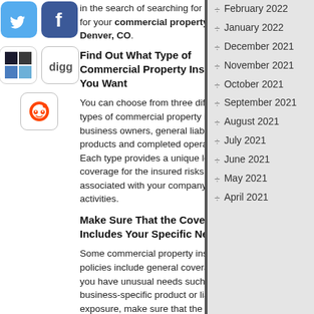[Figure (other): Social media icons: Twitter (blue bird), Facebook (blue f), Windows/checkerboard logo, Digg logo, Reddit alien logo]
in the search of searching for insurance for your commercial property in Denver, CO.
Find Out What Type of Commercial Property Insurance You Want
You can choose from three different types of commercial property insurance: business owners, general liability, or products and completed operations. Each type provides a unique level of coverage for the insured risks associated with your company's activities.
Make Sure That the Coverage Includes Your Specific Needs
Some commercial property insurance policies include general coverage, but if you have unusual needs such as a business-specific product or liability exposure, make sure that the policy includes your specific
February 2022
January 2022
December 2021
November 2021
October 2021
September 2021
August 2021
July 2021
June 2021
May 2021
April 2021